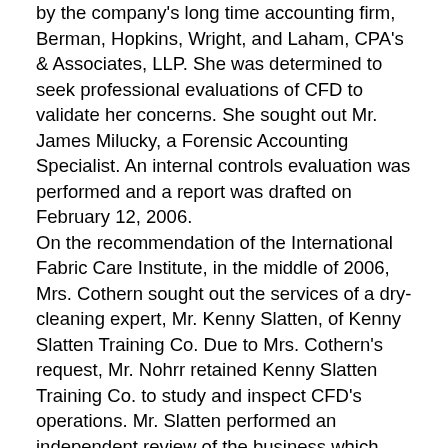by the company's long time accounting firm, Berman, Hopkins, Wright, and Laham, CPA's & Associates, LLP. She was determined to seek professional evaluations of CFD to validate her concerns. She sought out Mr. James Milucky, a Forensic Accounting Specialist. An internal controls evaluation was performed and a report was drafted on February 12, 2006. On the recommendation of the International Fabric Care Institute, in the middle of 2006, Mrs. Cothern sought out the services of a dry-cleaning expert, Mr. Kenny Slatten, of Kenny Slatten Training Co. Due to Mrs. Cothern's request, Mr. Nohrr retained Kenny Slatten Training Co. to study and inspect CFD's operations. Mr. Slatten performed an independent review of the business which concluded that CFD was a well run company and recognized Mr. K...ing well informed and competent above cleaning industry standards. EXHIBIT S (Adm... into Evidence). Excerpt from this Exhibit is b...